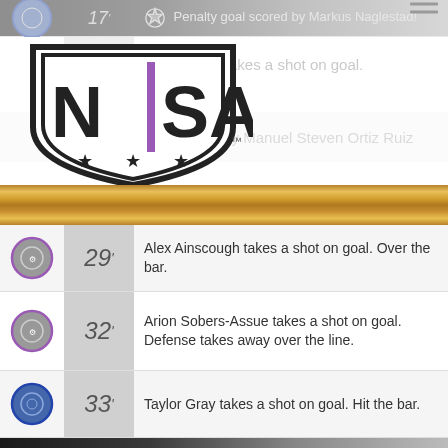17' Penalty goal scored by Markus Naglestad!
[Figure (logo): NISA (National Independent Soccer Association) shield logo with stars]
Taylor Gray takes a shot on goal.
Shot saved by Manuel Steven Ortiz Ruiz
29' Alex Ainscough takes a shot on goal. Over the bar.
32' Arion Sobers-Assue takes a shot on goal. Defense takes away over the line.
33' Taylor Gray takes a shot on goal. Hit the bar.
33' Goal to Chattanooga FC, scored by Markus Naglestad!
34' Benjamin Watson gets a yellow.
35' Goal to Chattanooga FC, scored by Alex Hernandez!